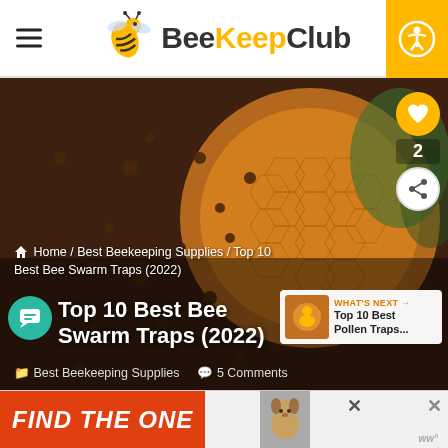BeeKeepClub — navigation header with hamburger menu and accessibility button
[Figure (photo): Close-up photo of bees covering a honeycomb surface, forming the hero background image]
Home / Best Beekeeping Supplies / Top 10 Best Bee Swarm Traps (2022)
Top 10 Best Bee Swarm Traps (2022)
Best Beekeeping Supplies   5 Comments
[Figure (photo): WHAT'S NEXT → Top 10 Best Pollen Traps... thumbnail panel]
[Figure (photo): Ad banner: FIND THE ONE with a dog image and close buttons]